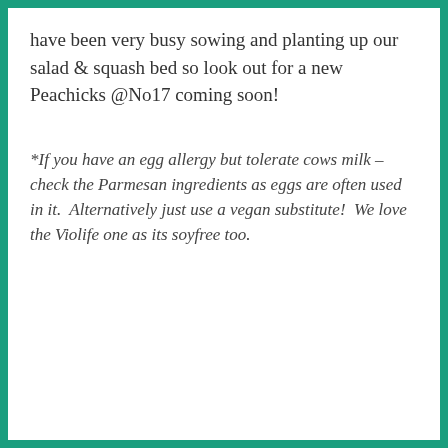have been very busy sowing and planting up our salad & squash bed so look out for a new Peachicks @No17 coming soon!
*If you have an egg allergy but tolerate cows milk – check the Parmesan ingredients as eggs are often used in it.  Alternatively just use a vegan substitute!  We love the Violife one as its soyfree too.